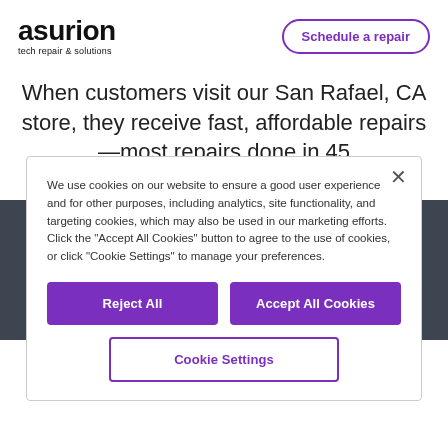[Figure (logo): Asurion logo with text 'asurion' in bold black and subtitle 'tech repair & solutions']
Schedule a repair
When customers visit our San Rafael, CA store, they receive fast, affordable repairs—most repairs done in 45
We use cookies on our website to ensure a good user experience and for other purposes, including analytics, site functionality, and targeting cookies, which may also be used in our marketing efforts. Click the "Accept All Cookies" button to agree to the use of cookies, or click "Cookie Settings" to manage your preferences.
Reject All
Accept All Cookies
Cookie Settings